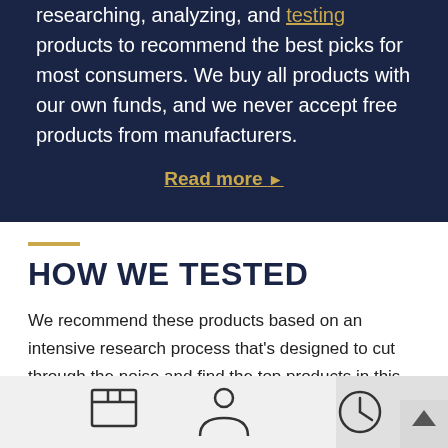researching, analyzing, and testing products to recommend the best picks for most consumers. We buy all products with our own funds, and we never accept free products from manufacturers.
Read more ▶
HOW WE TESTED
We recommend these products based on an intensive research process that's designed to cut through the noise and find the top products in this space. Guided by experts, we spend hours looking into the factors that matter, to bring you these selections.
[Figure (illustration): Three icons at the bottom: a box/package icon, a person/user icon, and a clock icon, with a back-to-top button arrow in the bottom right corner.]